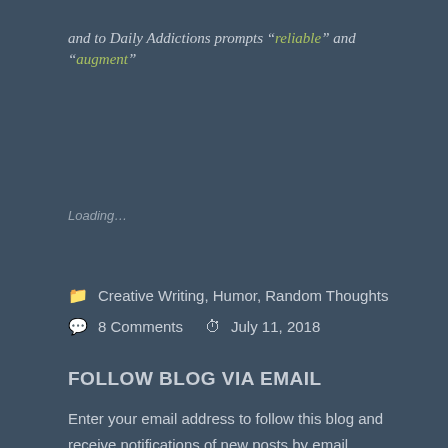and to Daily Addictions prompts “reliable” and “augment”
Loading…
Creative Writing, Humor, Random Thoughts
8 Comments   July 11, 2018
FOLLOW BLOG VIA EMAIL
Enter your email address to follow this blog and receive notifications of new posts by email.